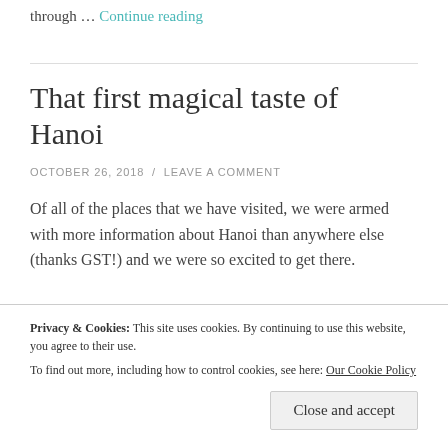through … Continue reading
That first magical taste of Hanoi
OCTOBER 26, 2018 / LEAVE A COMMENT
Of all of the places that we have visited, we were armed with more information about Hanoi than anywhere else (thanks GST!) and we were so excited to get there.
Privacy & Cookies: This site uses cookies. By continuing to use this website, you agree to their use.
To find out more, including how to control cookies, see here: Our Cookie Policy
Close and accept